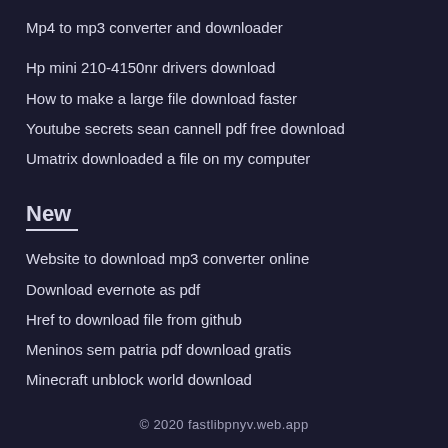Mp4 to mp3 converter and downloader
Hp mini 210-4150nr drivers download
How to make a large file download faster
Youtube secrets sean cannell pdf free download
Umatrix downloaded a file on my computer
New
Website to download mp3 converter online
Download evernote as pdf
Href to download file from github
Meninos sem patria pdf download gratis
Minecraft unblock world download
© 2020 fastlibpnyv.web.app